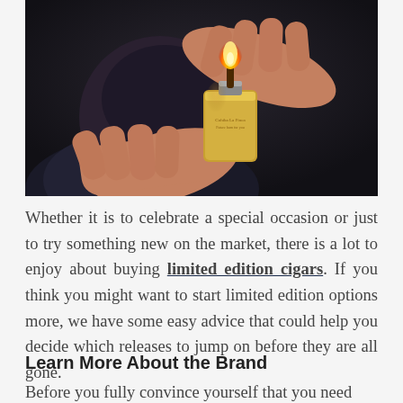[Figure (photo): A bearded man in a suit lighting a cigar with a gold lighter, close-up of hands with flame visible at the top]
Whether it is to celebrate a special occasion or just to try something new on the market, there is a lot to enjoy about buying limited edition cigars. If you think you might want to start limited edition options more, we have some easy advice that could help you decide which releases to jump on before they are all gone.
Learn More About the Brand
Before you fully convince yourself that you need these